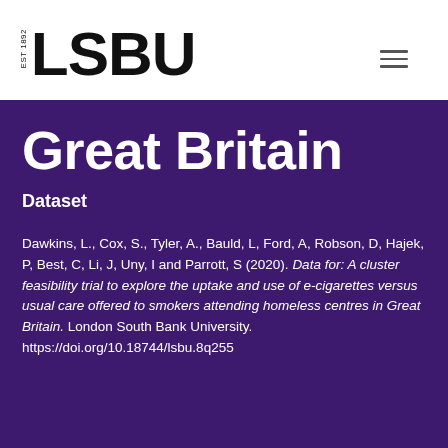[Figure (logo): LSBU logo with EST 1892 text beside large bold LSBU lettering]
Great Britain
Dataset
Dawkins, L., Cox, S., Tyler, A., Bauld, L, Ford, A, Robson, D, Hajek, P, Best, C, Li, J, Uny, I and Parrott, S (2020). Data for: A cluster feasibility trial to explore the uptake and use of e-cigarettes versus usual care offered to smokers attending homeless centres in Great Britain. London South Bank University. https://doi.org/10.18744/lsbu.8q255